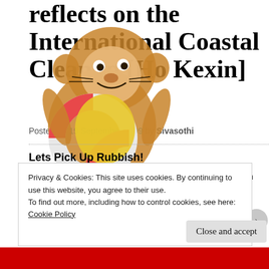reflects on the International Coastal Cleanup [Ho Kexin]
Posted on 19 September 2009 by Sivasothi
[Figure (illustration): Cartoon monkey holding a life preserver ring, colored drawing overlapping the title and article text]
Lets Pick Up Rubbish!
On 19 September 2009, 7 teachers and 10 pupils from Northland Primary School did their part for the environment by collecting, categorising and disposing litter at Changi Beach.
Privacy & Cookies: This site uses cookies. By continuing to use this website, you agree to their use.
To find out more, including how to control cookies, see here: Cookie Policy
Close and accept